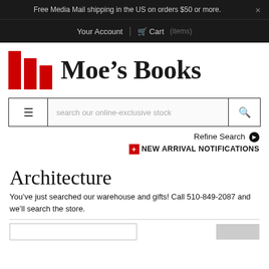Free Media Mail shipping in the US on orders $50 or more.
Your Account | Cart (items)
[Figure (logo): Moe's Books logo with three red vertical bars of decreasing height followed by bold serif text 'Moe’s Books']
search our online-exclusive stock
Refine Search
+ NEW ARRIVAL NOTIFICATIONS
Architecture
You’ve just searched our warehouse and gifts! Call 510-849-2087 and we’ll search the store.